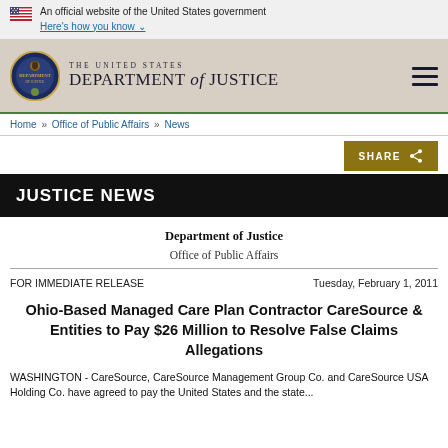An official website of the United States government
Here's how you know
[Figure (logo): Department of Justice seal and wordmark with THE UNITED STATES DEPARTMENT of JUSTICE text]
Home » Office of Public Affairs » News
SHARE
JUSTICE NEWS
Department of Justice
Office of Public Affairs
FOR IMMEDIATE RELEASE
Tuesday, February 1, 2011
Ohio-Based Managed Care Plan Contractor CareSource & Entities to Pay $26 Million to Resolve False Claims Allegations
WASHINGTON - CareSource, CareSource Management Group Co. and CareSource USA Holding Co. have agreed to pay the United States and the state...